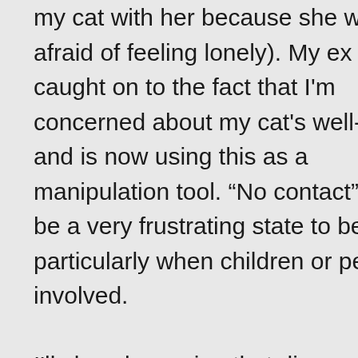my cat with her because she was afraid of feeling lonely). My ex has caught on to the fact that I'm concerned about my cat's well-being, and is now using this as a manipulation tool. “No contact” can be a very frustrating state to be in, particularly when children or pets are involved.

I'll close by saying that discovering this site has been a HUGELY therapeutic experience; Dr T's wisdom and experience and the